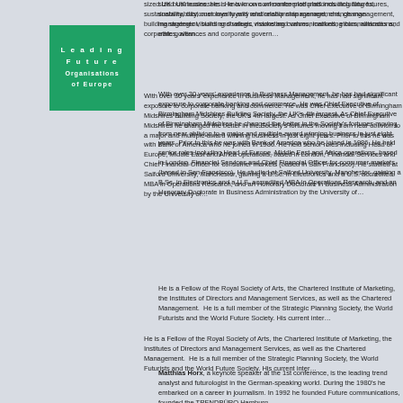[Figure (logo): Leading Future Organisations of Europe logo — green square with white bold spaced text]
sized UK businesses. He is known on conference platforms including futures, sustainability, customer loyalty and relationship management, change management, building strategic visions and values, marketing communications, ethics, alliances and corporate governance.
With over 30 years' experience in Business Management, he has had significant exposure to corporate banking and commerce. He was Chief Executive of Birmingham Midshires Building Society, the UK's 4th largest. As Chief Executive of Birmingham Midshires he changed the better in the Society's fortunes moving from near oblivion to a major and multiple-award winning business in just eight years. Prior to this he was with Bank of America who he joined in 1986. He held senior roles including Head of Europe, Middle East and Africa operations, based in London, Financial Services and Chief Financial Officer for consumer markets (based in San Francisco). He studied at Salford University, Manchester, gaining a B.Sc. in Electronics and a U.S. accredited MBA in Operations Research, and an Honorary Doctorate in Business Administration by the University of…
He is a Fellow of the Royal Society of Arts, the Chartered Institute of Marketing, the Institutes of Directors and Management Services, as well as the Chartered Management. He is a full member of the Strategic Planning Society, the World Future Society and the World Future Society. His current inter…
Matthias Horx, a keynote speaker at the 1st conference, is the leading trend analyst and futurologist in the German-speaking world. During the 1980's he embarked on a career in journalism. In 1992 he founded Future communications, founded the TRENDBÜRO Hamburg…